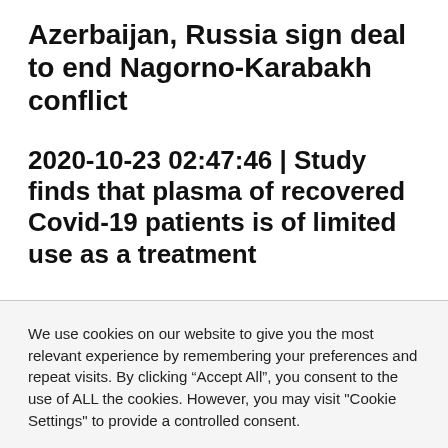Azerbaijan, Russia sign deal to end Nagorno-Karabakh conflict
2020-10-23 02:47:46 | Study finds that plasma of recovered Covid-19 patients is of limited use as a treatment
We use cookies on our website to give you the most relevant experience by remembering your preferences and repeat visits. By clicking “Accept All”, you consent to the use of ALL the cookies. However, you may visit "Cookie Settings" to provide a controlled consent.